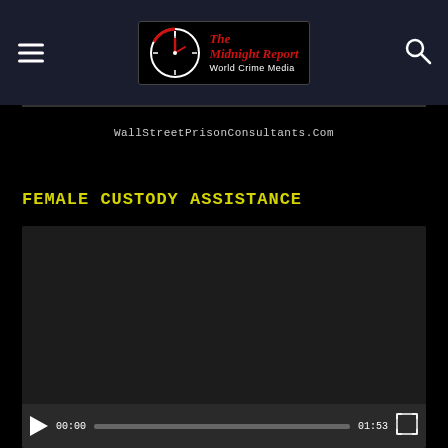The Midnight Report – World Crime Media
WallStreetPrisonConsultants.Com
FEMALE CUSTODY ASSISTANCE
[Figure (screenshot): Embedded video player showing a dark/black video thumbnail with playback controls at the bottom: play button, timecode 00:00, progress bar, end time 01:53, and fullscreen button.]